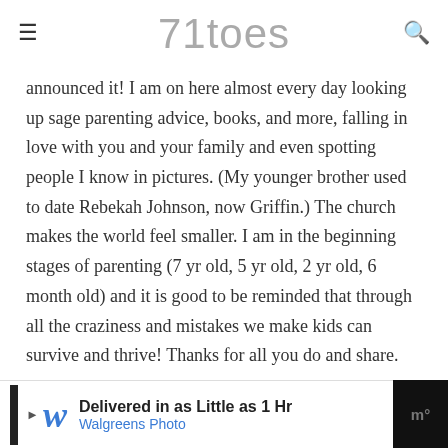71toes
announced it! I am on here almost every day looking up sage parenting advice, books, and more, falling in love with you and your family and even spotting people I know in pictures. (My younger brother used to date Rebekah Johnson, now Griffin.) The church makes the world feel smaller. I am in the beginning stages of parenting (7 yr old, 5 yr old, 2 yr old, 6 month old) and it is good to be reminded that through all the craziness and mistakes we make kids can survive and thrive! Thanks for all you do and share.
JENNY
August 27, 2019 - 11:50 am
Lo...                                             I work!
[Figure (other): Advertisement banner: Walgreens Photo - Delivered in as Little as 1 Hr]